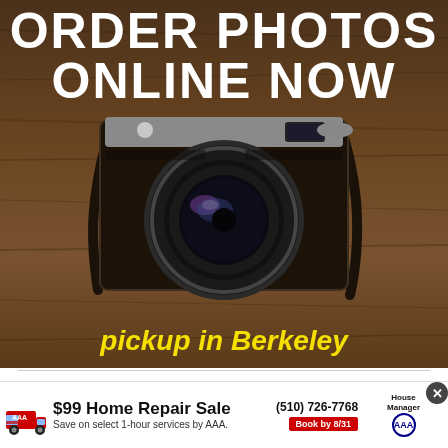[Figure (photo): Advertisement banner showing a vintage film camera on a wooden surface with text 'ORDER PHOTOS ONLINE NOW' in white bold letters and 'pickup in Berkeley' in yellow italic text at the bottom]
With the focus on storytelling, the lecture series orchestrated by Pollan harnessed its power to engage students, not just with statistics and scientific information, but with creative and emotionally charged narratives that should motivate them to take an active role in shaping the future of our food system.
[Figure (other): Bottom advertisement banner: $99 Home Repair Sale, Save on select 1-hour services by AAA, (510) 726-7768, Book by 8/31, House Manager, AAA logo, with van/truck icon and close button]